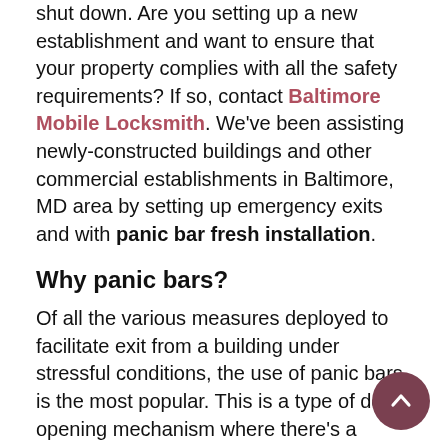shut down. Are you setting up a new establishment and want to ensure that your property complies with all the safety requirements? If so, contact Baltimore Mobile Locksmith. We've been assisting newly-constructed buildings and other commercial establishments in Baltimore, MD area by setting up emergency exits and with panic bar fresh installation.
Why panic bars?
Of all the various measures deployed to facilitate exit from a building under stressful conditions, the use of panic bars is the most popular. This is a type of door opening mechanism where there's a spring-loaded bar fixed onto the door. This allows the door to be opened by simply exerting substantial force on the bar. In an emergency, people would hardly be able to open bolted locks, find keys or maneuver through complex locking systems. The simplicity of the panic bar's mechanism is what works during emergencies as the door could swing open easily even if the crowd throws itself against...